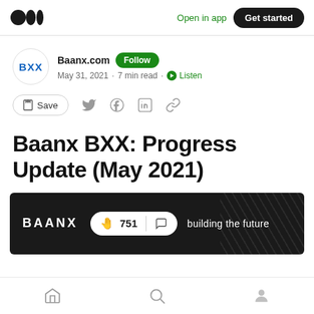Open in app  Get started
Baanx.com  Follow
May 31, 2021 · 7 min read · Listen
Save
Baanx BXX: Progress Update (May 2021)
[Figure (screenshot): Baanx banner image showing BAANX logo, a white pill/capsule button with clapping hands emoji and count 751, a chat bubble icon, and text 'building the future' on a dark background with diagonal light streaks]
Home  Search  Profile